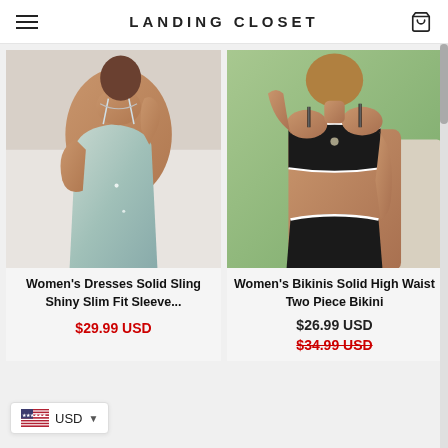LANDING CLOSET
[Figure (photo): Woman wearing a shiny silver-blue spaghetti strap mini dress, posing on white bed linens]
Women's Dresses Solid Sling Shiny Slim Fit Sleeve...
$29.99 USD
[Figure (photo): Woman wearing a black and white high waist two piece bikini set, posing outdoors]
Women's Bikinis Solid High Waist Two Piece Bikini
$26.99 USD
$34.99 USD